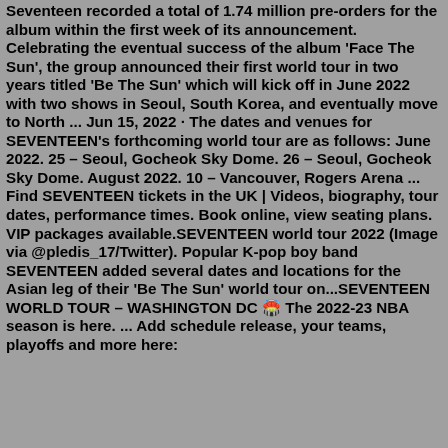Seventeen recorded a total of 1.74 million pre-orders for the album within the first week of its announcement. Celebrating the eventual success of the album 'Face The Sun', the group announced their first world tour in two years titled 'Be The Sun' which will kick off in June 2022 with two shows in Seoul, South Korea, and eventually move to North ... Jun 15, 2022 · The dates and venues for SEVENTEEN's forthcoming world tour are as follows: June 2022. 25 – Seoul, Gocheok Sky Dome. 26 – Seoul, Gocheok Sky Dome. August 2022. 10 – Vancouver, Rogers Arena ... Find SEVENTEEN tickets in the UK | Videos, biography, tour dates, performance times. Book online, view seating plans. VIP packages available.SEVENTEEN world tour 2022 (Image via @pledis_17/Twitter). Popular K-pop boy band SEVENTEEN added several dates and locations for the Asian leg of their 'Be The Sun' world tour on...SEVENTEEN WORLD TOUR – WASHINGTON DC 🏟️ The 2022-23 NBA season is here. ... Add schedule release, your teams, playoffs and more here: